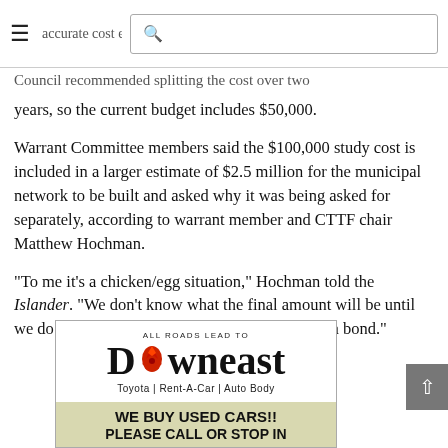accurate cost esti... [search bar] Council recommended splitting the cost over two years, so the current budget includes $50,000.
years, so the current budget includes $50,000.
Warrant Committee members said the $100,000 study cost is included in a larger estimate of $2.5 million for the municipal network to be built and asked why it was being asked for separately, according to warrant member and CTTF chair Matthew Hochman.
“To me it’s a chicken/egg situation,” Hochman told the Islander. “We don’t know what the final amount will be until we do the network design, so we cannot ask for a bond.”
[Figure (advertisement): Downeast Toyota advertisement. Top white section: 'ALL ROADS LEAD TO' text, 'D[phoenix logo]wneast' large bold text, 'Toyota | Rent-A-Car | Auto Body' tagline. Bottom yellow-green section: 'WE BUY USED CARS!! PLEASE CALL OR STOP IN' bold uppercase text.]